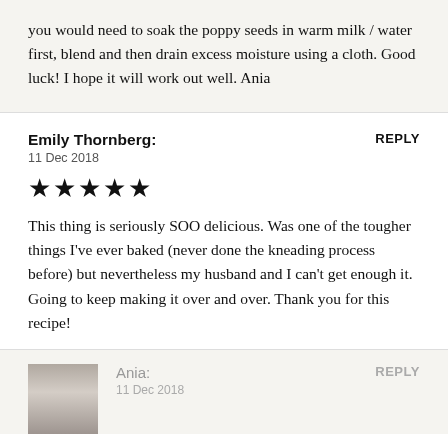you would need to soak the poppy seeds in warm milk / water first, blend and then drain excess moisture using a cloth. Good luck! I hope it will work out well. Ania
Emily Thornberg:
11 Dec 2018
★★★★★
This thing is seriously SOO delicious. Was one of the tougher things I've ever baked (never done the kneading process before) but nevertheless my husband and I can't get enough it. Going to keep making it over and over. Thank you for this recipe!
Ania:
11 Dec 2018